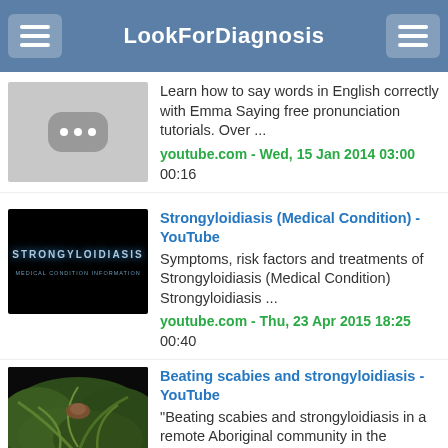LookForDiagnosis
Learn how to say words in English correctly with Emma Saying free pronunciation tutorials. Over ...
youtube.com - Wed, 15 Jan 2014 03:00
00:16
Strongyloidiasis (Medical Condition) - YouTube
Symptoms, risk factors and treatments of Strongyloidiasis (Medical Condition) Strongyloidiasis ...
youtube.com - Thu, 23 Apr 2015 18:25
00:40
Beating scabies and strongyloidiasis - YouTube
"Beating scabies and strongyloidiasis in a remote Aboriginal community in the Northern ...